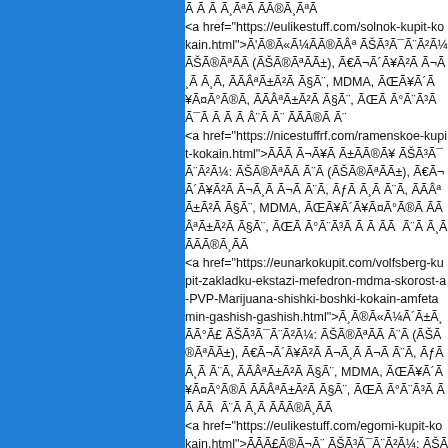Ã Ã Ã Ã¸ÃªÃ ÃĀ®Ã¸ÃªÃ </a>
<a href="https://eulikestuff.com/solnok-kupit-kokain.html">Ã'Ã®Ã«Ã¼ÃÃ®ÃÂª ÃŠÃ³Ã¯Ã¨Ã²Ã¼ ÃŠÃ®ÃªÃÃ (ÃŠÃ®ÃªÃÃ±), Ã€Ã¬Ã´Ã¥Ã²Ã Ã¬Ã¸Ã Ã¸Ã, ÃÃÂªÃ±Ã²Ã Ã§Ã¨, MDMA, ÃŒÃ¥Ã´Ã¥Ã¤Ã°Ã®Ã, ÃÃÂªÃ±Ã²Ã Ã§Ã¨, ÃŒÃ Ã°Ã¨Ã³Ã Ã¯Ã Ã Ã Ã Â¨Ã Ã¨ ÃÃÃ®Ã Ã¨</a>
<a href="https://nicestuffrf.com/ramenskoe-kupit-kokain.html">ÃÃÃ Ã¬Ã¥Ã Ã±ÃÃ®Ã¥ ÃŠÃ³Ã¯Ã¨Ã²Ã¼: ÃŠÃ®ÃªÃÃ Ã¨Ã (ÃŠÃ®ÃªÃÃ±), Ã€Ã¬Ã´Ã¥Ã²Ã Ã¬Ã¸Ã Ã¬Ã Ã¨Ã, ÃƒÃ Ã¸Ã Ã¨Ã, ÃÃÂªÃ±Ã²Ã Ã§Ã¨, MDMA, ÃŒÃ¥Ã´Ã¥Ã¤Ã°Ã®Ã ÃÃÂªÃ±Ã²Ã Ã§Ã¨, ÃŒÃ Ã°Ã¨Ã³Ã Ã Ã ÃÃ  Ã¨Ã Ã¸Ã ÃÃÃ®Ã¸ÃÃ</a>
<a href="https://eunarkokupit.com/volfsberg-kupit-zakladku-ekstazi-mefedron-mdma-skorost-a-PVP-Marijuana-shishki-boshki-kokain-amfetamin-gashish-gashish.html">Ã¸Ã®Ã«Ã¼Ã´Ã±Ã¸ÃÃ°Ã£ ÃŠÃ³Ã¯Ã¨Ã²Ã¼: ÃŠÃ®ÃªÃÃ Ã¨Ã (ÃŠÃ®ÃªÃÃ±), Ã€Ã¬Ã´Ã¥Ã²Ã Ã¬Ã¸Ã Ã¬Ã Ã¨Ã, ÃƒÃ Ã¸Ã Ã¨Ã, ÃÃÂªÃ±Ã²Ã Ã§Ã¨, MDMA, ÃŒÃ¥Ã´Ã¥Ã¤Ã°Ã®Ã ÃÃÂªÃ±Ã²Ã Ã§Ã¨, ÃŒÃ Ã°Ã¨Ã³Ã Ã Ã ÃÃ  Ã¨Ã Ã¸Ã ÃÃÃ®Ã¸ÃÃ</a>
<a href="https://eulikestuff.com/egomi-kupit-kokain.html">ÃÃÃ£Ã®Ã¬Ã¨ ÃŠÃ³Ã¯Ã¨Ã²Ã¼: ÃŠÃÃÃêÃÃÃÃÃÃÃÃ